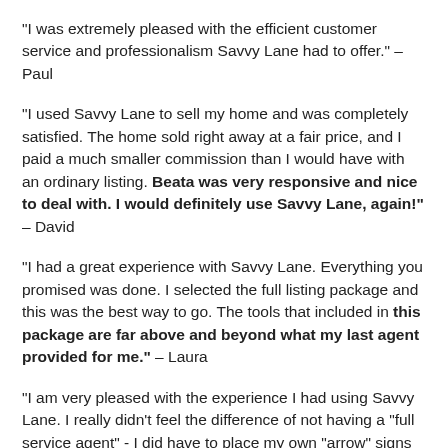"I was extremely pleased with the efficient customer service and professionalism Savvy Lane had to offer." – Paul
"I used Savvy Lane to sell my home and was completely satisfied. The home sold right away at a fair price, and I paid a much smaller commission than I would have with an ordinary listing. Beata was very responsive and nice to deal with. I would definitely use Savvy Lane, again!" – David
"I had a great experience with Savvy Lane. Everything you promised was done. I selected the full listing package and this was the best way to go. The tools that included in this package are far above and beyond what my last agent provided for me." – Laura
"I am very pleased with the experience I had using Savvy Lane. I really didn't feel the difference of not having a "full service agent" - I did have to place my own "arrow" signs at the end of the street, but everything else was the same as when I listed the